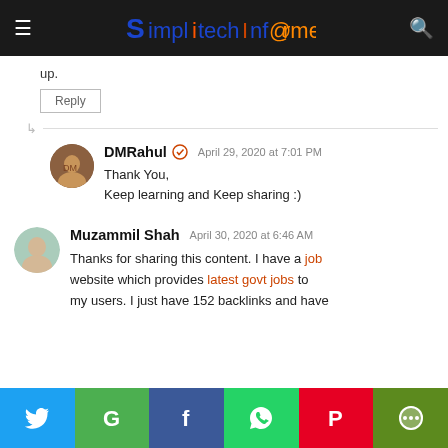SimplitechInformer
up.
Reply
DMRahul — April 29, 2020 at 7:01 PM
Thank You,
Keep learning and Keep sharing :)
Muzammil Shah — April 30, 2020 at 6:46 AM
Thanks for sharing this content. I have a job website which provides latest govt jobs to my users. I just have 152 backlinks and have
Twitter | Google | Facebook | WhatsApp | Pinterest | More